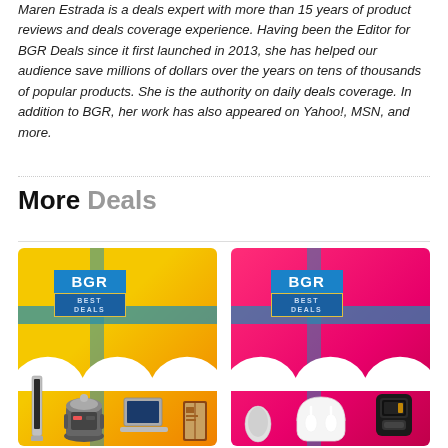Maren Estrada is a deals expert with more than 15 years of product reviews and deals coverage experience. Having been the Editor for BGR Deals since it first launched in 2013, she has helped our audience save millions of dollars over the years on tens of thousands of popular products. She is the authority on daily deals coverage. In addition to BGR, her work has also appeared on Yahoo!, MSN, and more.
More Deals
[Figure (photo): BGR Best Deals promotional image with yellow/orange gradient background, BGR logo badge in blue, cross bar design, and product images including an Instant Pot, laptop, book, and MacBook-style device at the bottom]
[Figure (photo): BGR Best Deals promotional image with pink/magenta gradient background, BGR logo badge in blue, cross bar design, and product images including AirPods Pro and an air fryer at the bottom]